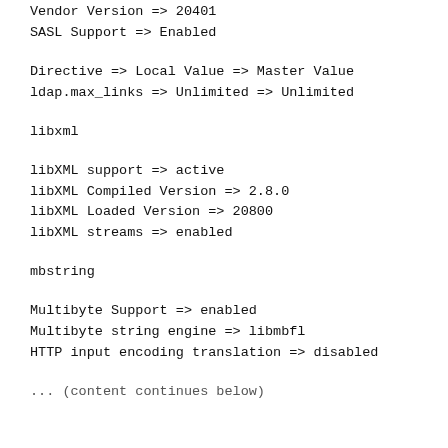Vendor Version => 20401
SASL Support => Enabled
Directive => Local Value => Master Value
ldap.max_links => Unlimited => Unlimited
libxml
libXML support => active
libXML Compiled Version => 2.8.0
libXML Loaded Version => 20800
libXML streams => enabled
mbstring
Multibyte Support => enabled
Multibyte string engine => libmbfl
HTTP input encoding translation => disabled
... (content continues below)